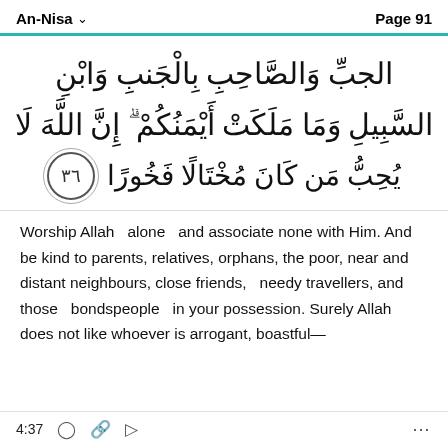An-Nisa  Page 91
الجبِّ وَالصَّاحِبِ بِالْجَنبِ وَابْنِ السَّبِيلِ وَمَا مَلَكَتْ أَيْمَنُكُمْ ۗ إِنَّ اللَّهَ لَا يُحِبُّ مَن كَانَ مُخْتَالًا فَخُورًا ﴿٣٦﴾
Worship Allah  alone  and associate none with Him. And be kind to parents, relatives, orphans, the poor, near and distant neighbours, close friends,  needy travellers, and those  bondspeople  in your possession. Surely Allah does not like whoever is arrogant, boastful—
4:37